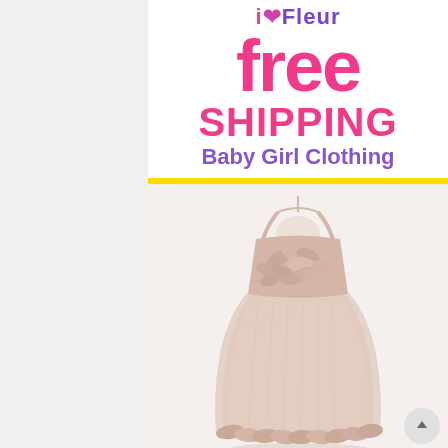[Figure (logo): iLFleur brand logo text in pink/purple colors]
FREE SHIPPING Baby Girl Clothing
[Figure (photo): A light pink/beige baby girl party dress with floral petal embellishments on the bodice and ruffled hem, hanging on a hanger against a white background]